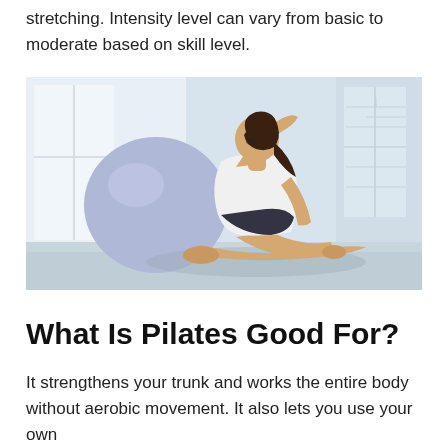stretching. Intensity level can vary from basic to moderate based on skill level.
[Figure (photo): A woman in a white tank top and dark shorts performing a side stretch/pilates pose while seated on the floor, with a large lavender exercise ball behind her, in a bright white studio.]
What Is Pilates Good For?
It strengthens your trunk and works the entire body without aerobic movement. It also lets you use your own